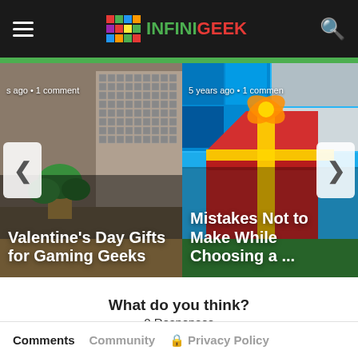INFINIGEEK
[Figure (screenshot): Carousel slide 1: Valentine's Day Gifts for Gaming Geeks, 5 years ago · 1 comment]
[Figure (screenshot): Carousel slide 2: Mistakes Not to Make While Choosing a ..., 5 years ago · 1 comment]
What do you think?
0 Responses
[Figure (infographic): Reaction emojis: Upvote (thumbs up), Funny (laughing face with tongue), Love (heart eyes), Surprised (wow face), Angry (crying face), Sad (sad face with tear)]
Comments   Community   Privacy Policy